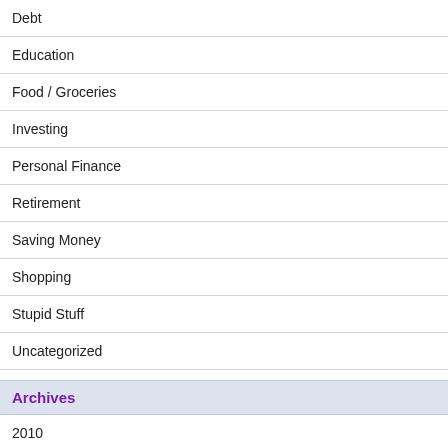Debt
Education
Food / Groceries
Investing
Personal Finance
Retirement
Saving Money
Shopping
Stupid Stuff
Uncategorized
Archives
2010
2009
My Blog Stats
Date Started: Aug 21, 2009
Entries: 100
Comments: 272
Total Visits: 587,142
[Figure (logo): credit karma logo in green text]